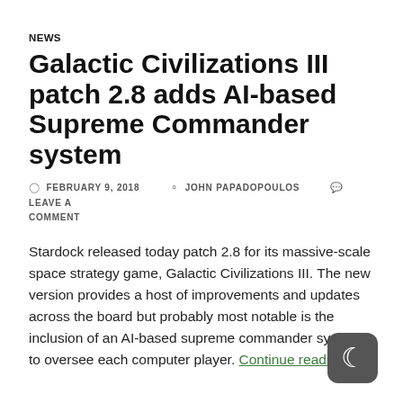NEWS
Galactic Civilizations III patch 2.8 adds AI-based Supreme Commander system
FEBRUARY 9, 2018  JOHN PAPADOPOULOS  LEAVE A COMMENT
Stardock released today patch 2.8 for its massive-scale space strategy game, Galactic Civilizations III. The new version provides a host of improvements and updates across the board but probably most notable is the inclusion of an AI-based supreme commander system to oversee each computer player. Continue reading →